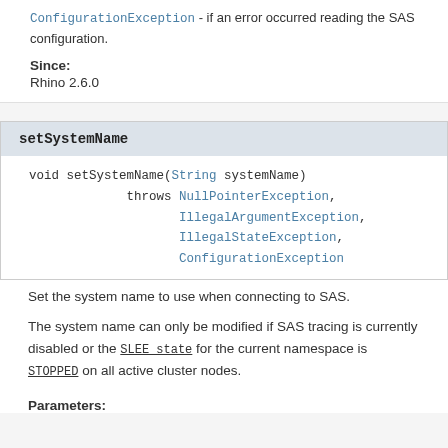ConfigurationException - if an error occurred reading the SAS configuration.
Since:
Rhino 2.6.0
setSystemName
void setSystemName(String systemName)
        throws NullPointerException,
               IllegalArgumentException,
               IllegalStateException,
               ConfigurationException
Set the system name to use when connecting to SAS.
The system name can only be modified if SAS tracing is currently disabled or the SLEE state for the current namespace is STOPPED on all active cluster nodes.
Parameters: